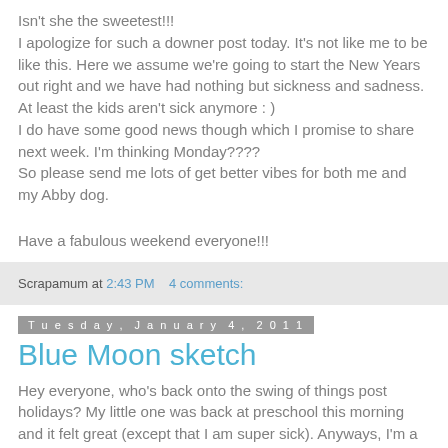Isn't she the sweetest!!! I apologize for such a downer post today. It's not like me to be like this. Here we assume we're going to start the New Years out right and we have had nothing but sickness and sadness. At least the kids aren't sick anymore : ) I do have some good news though which I promise to share next week. I'm thinking Monday???? So please send me lots of get better vibes for both me and my Abby dog.
Have a fabulous weekend everyone!!!
Scrapamum at 2:43 PM    4 comments:
Tuesday, January 4, 2011
Blue Moon sketch
Hey everyone, who's back onto the swing of things post holidays? My little one was back at preschool this morning and it felt great (except that I am super sick). Anyways, I'm a